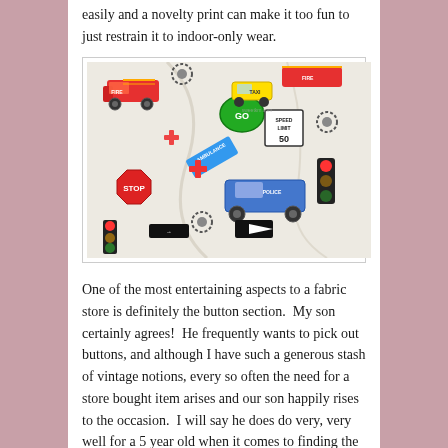easily and a novelty print can make it too fun to just restrain it to indoor-only wear.
[Figure (photo): Close-up photo of novelty fabric with children's transportation theme prints including fire trucks, taxi, police car, ambulance, traffic signs (stop, go, speed limit 50), traffic lights, and colorful vehicles on white fabric background. Red cross-shaped buttons are also visible on the fabric.]
One of the most entertaining aspects to a fabric store is definitely the button section.  My son certainly agrees!  He frequently wants to pick out buttons, and although I have such a generous stash of vintage notions, every so often the need for a store bought item arises and our son happily rises to the occasion.  I will say he does do very, very well for a 5 year old when it comes to finding the perfect button for both some of my own projects as well as